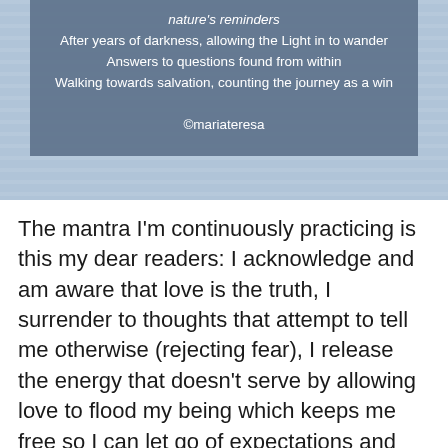nature's reminders
After years of darkness, allowing the Light in to wander
Answers to questions found from within
Walking towards salvation, counting the journey as a win

©mariateresa
The mantra I'm continuously practicing is this my dear readers: I acknowledge and am aware that love is the truth, I surrender to thoughts that attempt to tell me otherwise (rejecting fear), I release the energy that doesn't serve by allowing love to flood my being which keeps me free so I can let go of expectations and attachments, embracing the present, arriving at acceptance to all that is. The I AM, we all are. Love. There is no failing in life my dear readers. We keep trying, everyday is another opportunity to forgive ourselves and others through grace and compassion. Life here on Earth